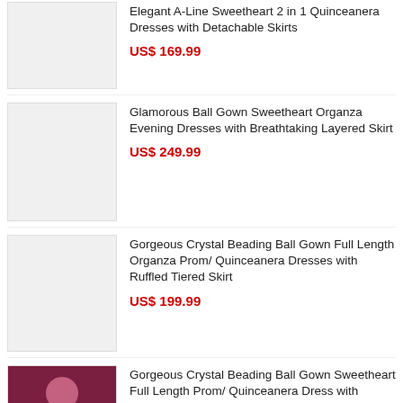Elegant A-Line Sweetheart 2 in 1 Quinceanera Dresses with Detachable Skirts
US$ 169.99
Glamorous Ball Gown Sweetheart Organza Evening Dresses with Breathtaking Layered Skirt
US$ 249.99
Gorgeous Crystal Beading Ball Gown Full Length Organza Prom/ Quinceanera Dresses with Ruffled Tiered Skirt
US$ 199.99
Gorgeous Crystal Beading Ball Gown Sweetheart Full Length Prom/ Quinceanera Dress with Ruffled Tiered Skirt
US$ 199.99
Luxury Beaded Embroidery Ball Gown Spaghetti Straps Floor Length Prom/ Quinceanera Dresses with Ruffled Tiered Skirt
US$ 199.99
Tailored Beading Sweetheart Floor Length Tulle Prom/ Quinceanera Dresses with Pleated Bodice